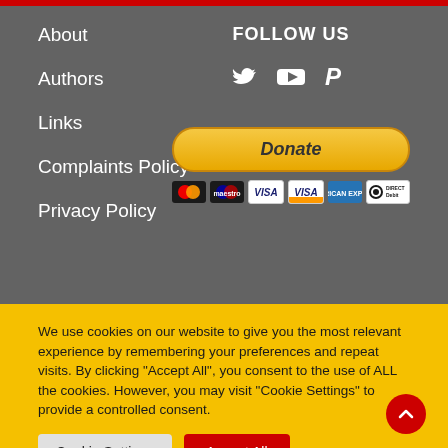About
Authors
Links
Complaints Policy
Privacy Policy
FOLLOW US
[Figure (infographic): Social media icons: Twitter, YouTube, PayPal]
[Figure (infographic): Donate button with payment icons: Mastercard, Maestro, Visa, Visa, Amex, Direct Debit]
We use cookies on our website to give you the most relevant experience by remembering your preferences and repeat visits. By clicking “Accept All”, you consent to the use of ALL the cookies. However, you may visit "Cookie Settings" to provide a controlled consent.
Cookie Settings
Accept All